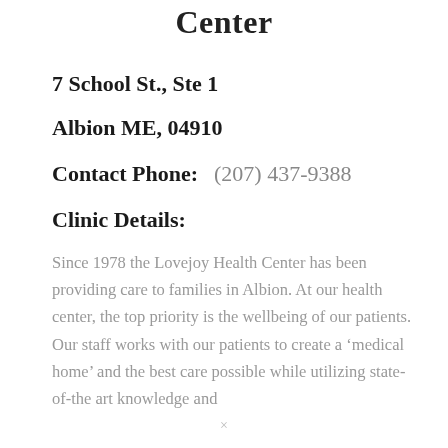Center
7 School St., Ste 1
Albion ME, 04910
Contact Phone:    (207) 437-9388
Clinic Details:
Since 1978 the Lovejoy Health Center has been providing care to families in Albion. At our health center, the top priority is the wellbeing of our patients. Our staff works with our patients to create a ‘medical home’ and the best care possible while utilizing state-of-the art knowledge and